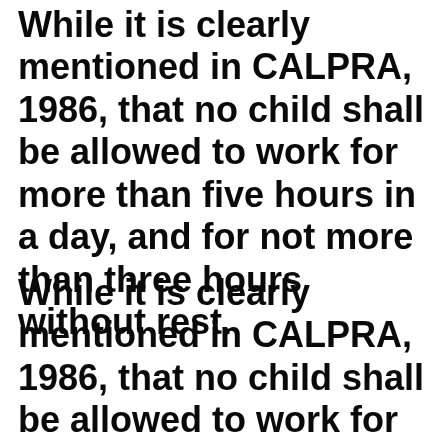While it is clearly mentioned in CALPRA, 1986, that no child shall be allowed to work for more than five hours in a day, and for not more than three hours without rest.
While it is clearly mentioned in CALPRA, 1986, that no child shall be allowed to work for more than five hours in a day,